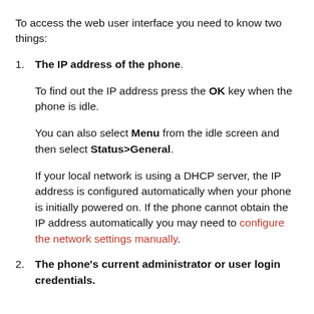To access the web user interface you need to know two things:
1. The IP address of the phone.

To find out the IP address press the OK key when the phone is idle.

You can also select Menu from the idle screen and then select Status>General.

If your local network is using a DHCP server, the IP address is configured automatically when your phone is initially powered on. If the phone cannot obtain the IP address automatically you may need to configure the network settings manually.
2. The phone's current administrator or user login credentials.